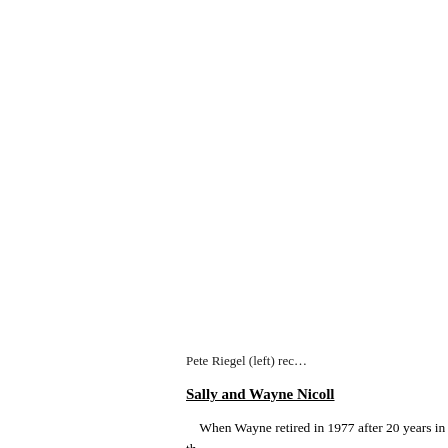Pete Riegel (left) rec…
Sally and Wayne Nicoll
When Wayne retired in 1977 after 20 years in th… road running. Together with Sally he opened a run… hometown of Augusta, GA. By the early 1980's ho…